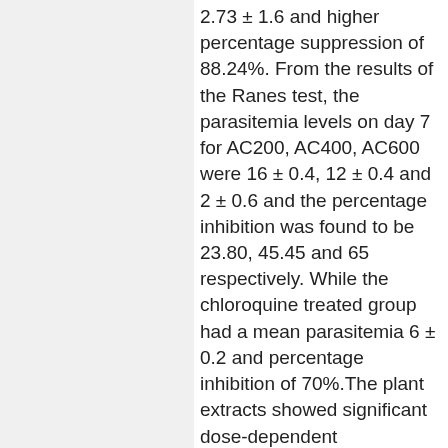2.73 ± 1.6 and higher percentage suppression of 88.24%. From the results of the Ranes test, the parasitemia levels on day 7 for AC200, AC400, AC600 were 16 ± 0.4, 12 ± 0.4 and 2 ± 0.6 and the percentage inhibition was found to be 23.80, 45.45 and 65 respectively. While the chloroquine treated group had a mean parasitemia 6 ± 0.2 and percentage inhibition of 70%.The plant extracts showed significant dose-dependent antiplasmodial activity with the decrease in parasitemia, rectal temperature, body weight and increase in suppression, packed cell volume in all treated groups